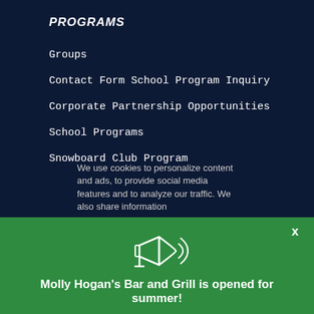PROGRAMS
Groups
Contact Form School Program Inquiry
Corporate Partnership Opportunities
School Programs
Snowboard Club Program
We use cookies to personalize content and ads, to provide social media features and to analyze our traffic. We also share information
[Figure (illustration): Megaphone/bullhorn icon in white outline style]
Molly Hogan's Bar and Grill is opened for summer!